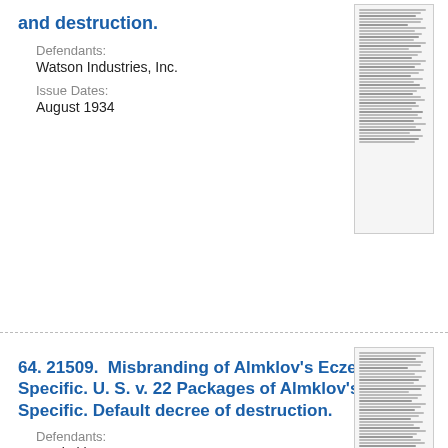and destruction.
Defendants:
Watson Industries, Inc.
Issue Dates:
August 1934
[Figure (other): Thumbnail image of a legal document page]
64. 21509. Misbranding of Almklov's Eczema Specific. U. S. v. 22 Packages of Almklov's Eczema Specific. Default decree of destruction.
Defendants:
S. Almklov
Issue Dates:
August 1934
[Figure (other): Thumbnail image of a legal document page]